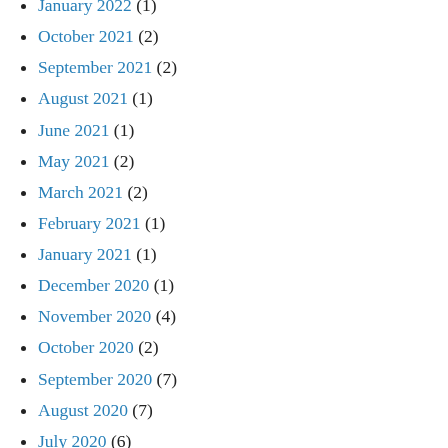January 2022 (1)
October 2021 (2)
September 2021 (2)
August 2021 (1)
June 2021 (1)
May 2021 (2)
March 2021 (2)
February 2021 (1)
January 2021 (1)
December 2020 (1)
November 2020 (4)
October 2020 (2)
September 2020 (7)
August 2020 (7)
July 2020 (6)
June 2020 (7)
May 2020 (7)